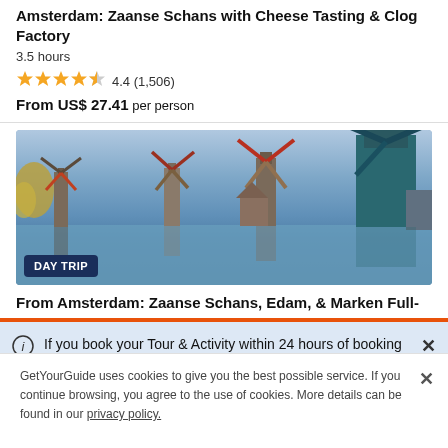Amsterdam: Zaanse Schans with Cheese Tasting & Clog Factory
3.5 hours
4.4 (1,506)
From US$ 27.41 per person
[Figure (photo): Panoramic photo of Zaanse Schans windmills reflected in water with autumn foliage, with a DAY TRIP badge overlay]
From Amsterdam: Zaanse Schans, Edam, & Marken Full-
If you book your Tour & Activity within 24 hours of booking your easyJet flight you will purchase what is known as a Linked Travel Arrangement. This means
GetYourGuide uses cookies to give you the best possible service. If you continue browsing, you agree to the use of cookies. More details can be found in our privacy policy.